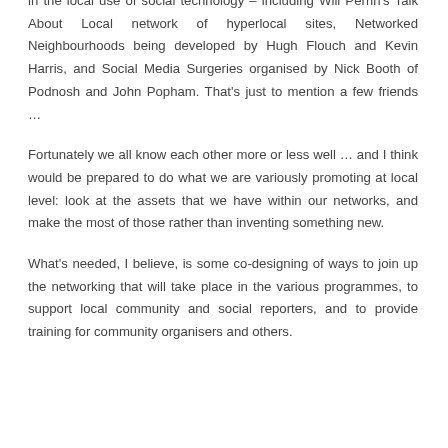in the local use of social technology – including Will Perrin's Talk About Local network of hyperlocal sites, Networked Neighbourhoods being developed by Hugh Flouch and Kevin Harris, and Social Media Surgeries organised by Nick Booth of Podnosh and John Popham. That's just to mention a few friends …
Fortunately we all know each other more or less well … and I think would be prepared to do what we are variously promoting at local level: look at the assets that we have within our networks, and make the most of those rather than inventing something new.
What's needed, I believe, is some co-designing of ways to join up the networking that will take place in the various programmes, to support local community and social reporters, and to provide training for community organisers and others.